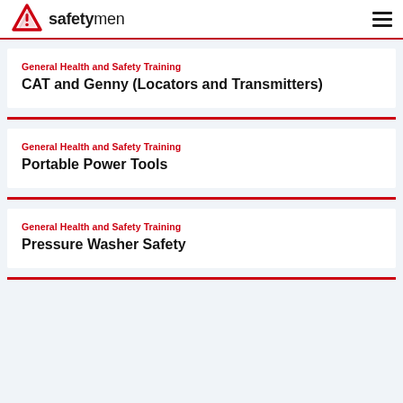safetymen
General Health and Safety Training
CAT and Genny (Locators and Transmitters)
General Health and Safety Training
Portable Power Tools
General Health and Safety Training
Pressure Washer Safety